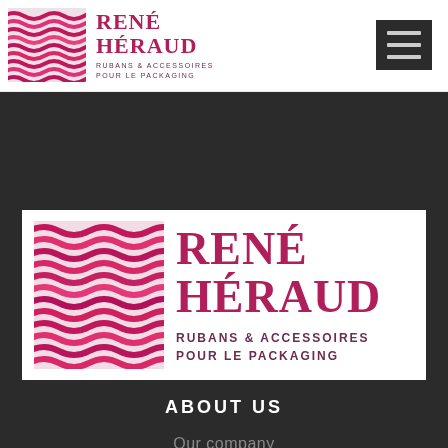[Figure (logo): René Héraud logo — wavy stripe pattern square + company name 'RENÉ HÉRAUD' and tagline 'RUBANS & ACCESSOIRES POUR LE PACKAGING' in top navigation bar]
[Figure (other): Hamburger menu icon (three horizontal lines) in dark rectangle, top right]
[Figure (logo): René Héraud large logo on white card — wavy stripe pattern square + large 'RENÉ HÉRAUD' text + 'RUBANS & ACCESSOIRES POUR LE PACKAGING']
ABOUT US
Our company
The team
Our know how